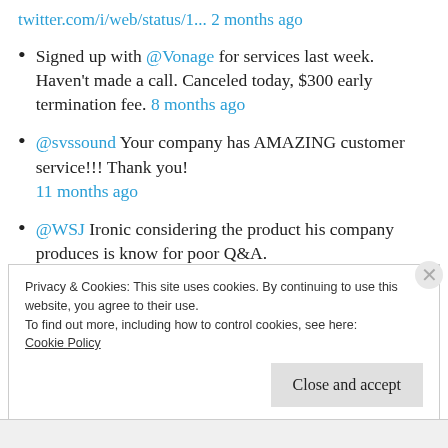twitter.com/i/web/status/1... 2 months ago
Signed up with @Vonage for services last week. Haven't made a call. Canceled today, $300 early termination fee. 8 months ago
@svssound Your company has AMAZING customer service!!! Thank you! 11 months ago
@WSJ Ironic considering the product his company produces is know for poor Q&A.
Privacy & Cookies: This site uses cookies. By continuing to use this website, you agree to their use.
To find out more, including how to control cookies, see here:
Cookie Policy
Close and accept